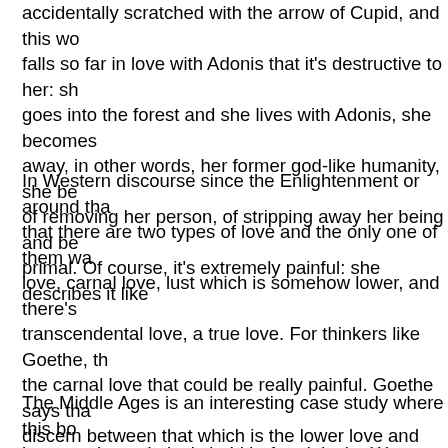accidentally scratched with the arrow of Cupid, and this wo falls so far in love with Adonis that it's destructive to her: sh goes into the forest and she lives with Adonis, she becomes away, in other words, her former god-like humanity, she be of removing her person, of stripping away her being and be primal. Of course, it's extremely painful: she describes it like
In Western discourse since the Enlightenment or around tha that there are two types of love and the only one of them wa love, carnal love, lust which is somehow lower, and there's transcendental love, a true love. For thinkers like Goethe, th the carnal love that could be really painful. Goethe says tha discern between that which is the lower love and the higher follow. He says that the lower love is poison, it eats you aliv carnal, destructive love. He said that you should follow this generates the true human being or a fulfilled human being.
The Middle Ages is an interesting case study where this bo however is a relatively bold before it is the West...